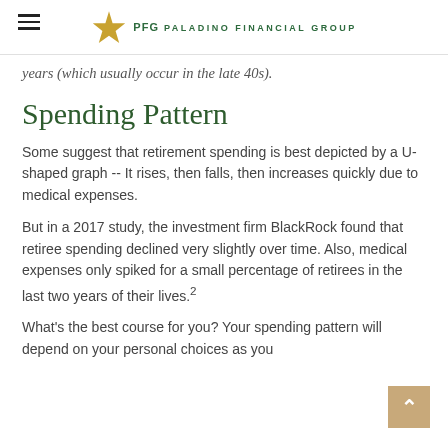PFG PALADINO FINANCIAL GROUP
years (which usually occur in the late 40s).
Spending Pattern
Some suggest that retirement spending is best depicted by a U-shaped graph -- It rises, then falls, then increases quickly due to medical expenses.
But in a 2017 study, the investment firm BlackRock found that retiree spending declined very slightly over time. Also, medical expenses only spiked for a small percentage of retirees in the last two years of their lives.²
What's the best course for you? Your spending pattern will depend on your personal choices as you